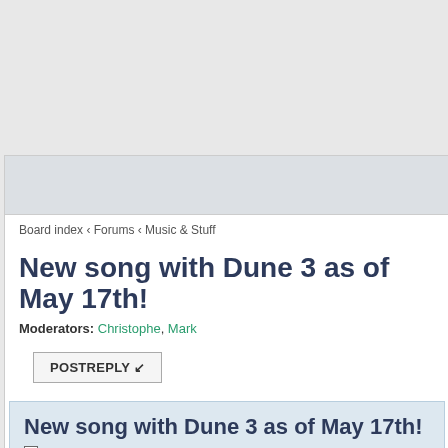Board index ‹ Forums ‹ Music & Stuff
New song with Dune 3 as of May 17th!
Moderators: Christophe, Mark
New song with Dune 3 as of May 17th!
by aaron aardvark » Wed May 18, 2022 6:36 am
I put a new song in my music website called "All The Time" (the so synths. Please tell me how you like the song, and how it can be im link:
https://www.soundclick.com/artist/defau ... dID=224436